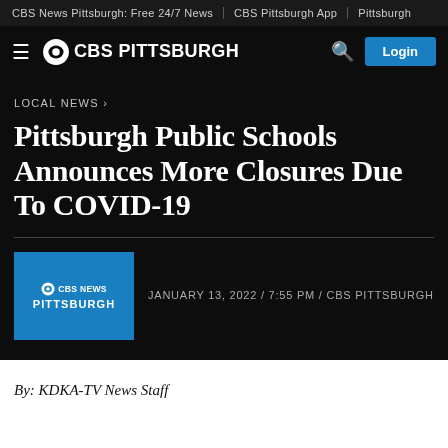CBS News Pittsburgh: Free 24/7 News | CBS Pittsburgh App | Pittsburgh
CBS PITTSBURGH — navigation bar with hamburger menu, search, and Login button
LOCAL NEWS ›
Pittsburgh Public Schools Announces More Closures Due To COVID-19
JANUARY 13, 2022 / 7:55 PM / CBS PITTSBURGH
By: KDKA-TV News Staff